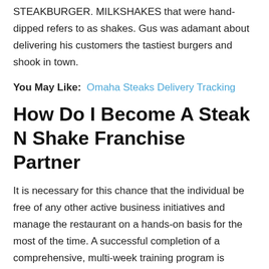STEAKBURGER. MILKSHAKES that were hand-dipped refers to as shakes. Gus was adamant about delivering his customers the tastiest burgers and shook in town.
You May Like: Omaha Steaks Delivery Tracking
How Do I Become A Steak N Shake Franchise Partner
It is necessary for this chance that the individual be free of any other active business initiatives and manage the restaurant on a hands-on basis for the most of the time. A successful completion of a comprehensive, multi-week training program is required of all Steak n Shake Franchise Partners before they can take over the running of their franchised Steak n Shake restaurant company.